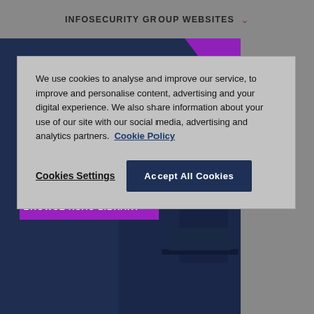INFOSECURITY GROUP WEBSITES
We use cookies to analyse and improve our service, to improve and personalise content, advertising and your digital experience. We also share information about your use of our site with our social media, advertising and analytics partners. Cookie Policy
Cookies Settings
Accept All Cookies
[Figure (infographic): Dark navy blue advertisement banner with text 'INSIGHT. PERSPECTIVE. INNOVATION.' and 'AVAILABLE ANYTIME.' with a purple call-to-action button reading 'BROWSE RSAC LIBRARY >>' and a silhouette of a person working at a computer. A purple diagonal accent is visible in the top right corner.]